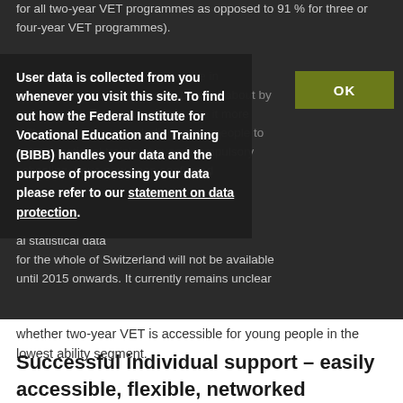for all two-year VET programmes as opposed to 91 % for three or four-year VET programmes).
User data is collected from you whenever you visit this site. To find out how the Federal Institute for Vocational Education and Training (BIBB) handles your data and the purpose of processing your data please refer to our statement on data protection.
Previously expressed fears that the increase in level of these training courses brought about by standardisation for courses to make it more difficult, resulting in excluding young people to enter vocational training beyond compulsory schooling, have now been confirmed neither by national statistical data for the whole of Switzerland will not be available until 2015 onwards. It currently remains unclear whether two-year VET is accessible for young people in the lowest ability segment.
Successful individual support – easily accessible, flexible, networked